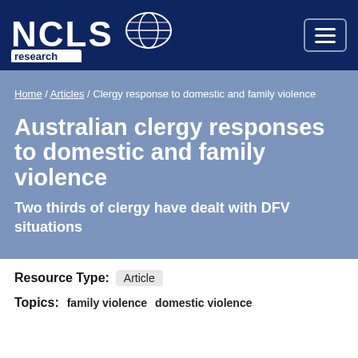NCLS research
Home / Articles / Clergy response to domestic and family violence
Australian clergy responses to domestic and family violence
Two thirds of clergy have dealt with DFV situations
Resource Type: Article
Topics: family violence domestic violence